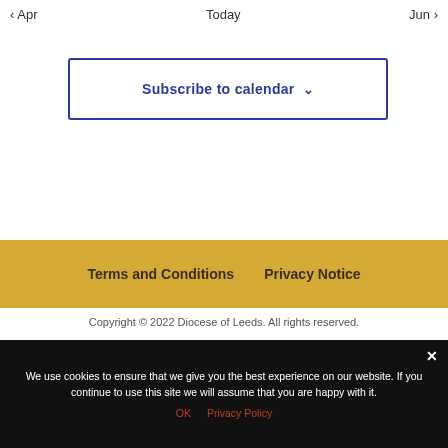< Apr   Today   Jun >
Subscribe to calendar ⌄
Terms and Conditions   Privacy Notice
Copyright © 2022 Diocese of Leeds. All rights reserved.
We use cookies to ensure that we give you the best experience on our website. If you continue to use this site we will assume that you are happy with it.
OK   Privacy Policy